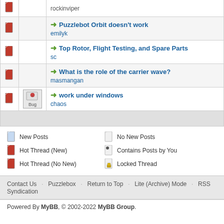|  |  | Thread Title / Author |
| --- | --- | --- |
| [icon] |  | rockinviper |
| [icon] |  | Puzzlebot Orbit doesn't work
emilyk |
| [icon] |  | Top Rotor, Flight Testing, and Spare Parts
sc |
| [icon] |  | What is the role of the carrier wave?
masmangan |
| [icon] | Bug | work under windows
chaos |
New Posts
No New Posts
Hot Thread (New)
Contains Posts by You
Hot Thread (No New)
Locked Thread
Contact Us   Puzzlebox   Return to Top   Lite (Archive) Mode   RSS Syndication
Powered By MyBB, © 2002-2022 MyBB Group.